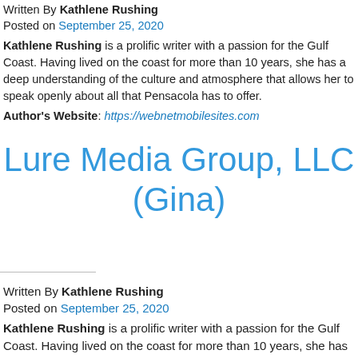Written By Kathlene Rushing
Posted on September 25, 2020
Kathlene Rushing is a prolific writer with a passion for the Gulf Coast. Having lived on the coast for more than 10 years, she has a deep understanding of the culture and atmosphere that allows her to speak openly about all that Pensacola has to offer.
Author's Website: https://webnetmobilesites.com
Lure Media Group, LLC (Gina)
Written By Kathlene Rushing
Posted on September 25, 2020
Kathlene Rushing is a prolific writer with a passion for the Gulf Coast. Having lived on the coast for more than 10 years, she has a deep understanding of the culture and atmosphere that allows her to speak openly about all that Pensacola has to offer.